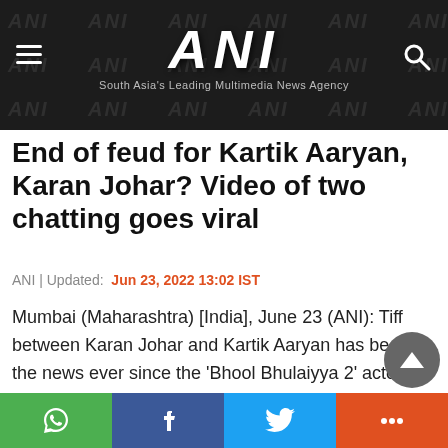ANI | South Asia's Leading Multimedia News Agency
End of feud for Kartik Aaryan, Karan Johar? Video of two chatting goes viral
ANI | Updated: Jun 23, 2022 13:02 IST
Mumbai (Maharashtra) [India], June 23 (ANI): Tiff between Karan Johar and Kartik Aaryan has been in the news ever since the 'Bhool Bhulaiyya 2' actor was ousted from Karan's upcoming film Dostana 2.